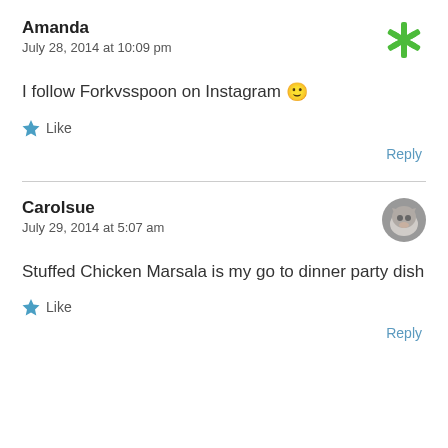Amanda
July 28, 2014 at 10:09 pm
I follow Forkvsspoon on Instagram 🙂
Like
Reply
Carolsue
July 29, 2014 at 5:07 am
Stuffed Chicken Marsala is my go to dinner party dish
Like
Reply